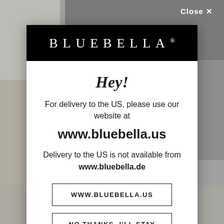[Figure (screenshot): Blurred/muted photo collage background showing fashion/lingerie imagery]
Close ✕
BLUEBELLA®
Hey!
For delivery to the US, please use our website at
www.bluebella.us
Delivery to the US is not available from www.bluebella.de
WWW.BLUEBELLA.US
NO THANKS, I'LL STAY